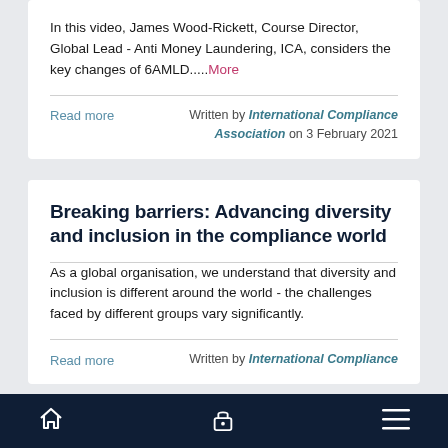In this video, James Wood-Rickett, Course Director, Global Lead - Anti Money Laundering, ICA, considers the key changes of 6AMLD.....More
Read more
Written by International Compliance Association on 3 February 2021
Breaking barriers: Advancing diversity and inclusion in the compliance world
As a global organisation, we understand that diversity and inclusion is different around the world - the challenges faced by different groups vary significantly.
Read more
Written by International Compliance